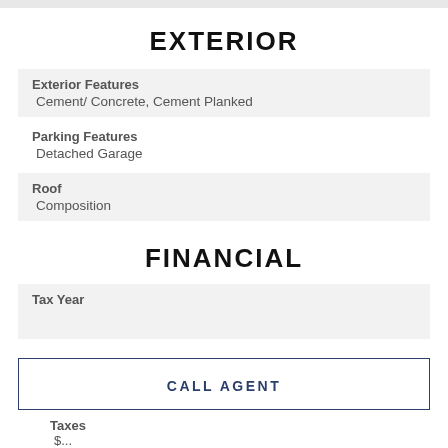EXTERIOR
Exterior Features
Cement/ Concrete, Cement Planked
Parking Features
Detached Garage
Roof
Composition
FINANCIAL
Tax Year
CALL AGENT
Taxes
$...